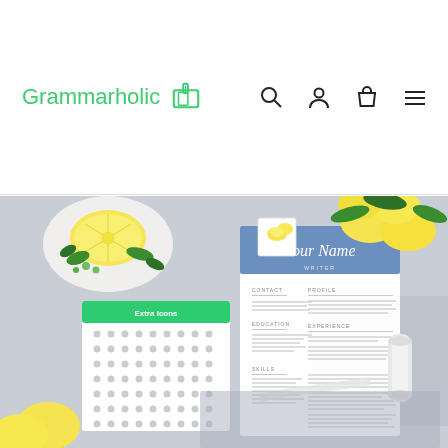Grammarholic
[Figure (photo): Flat lay photo of a resume template titled 'Your Name', an icon sheet with green header labeled 'Extra Icons', lemons, green leaves in a white bowl, a small lemon illustration card, and a spool of ribbon on a light blue-grey background.]